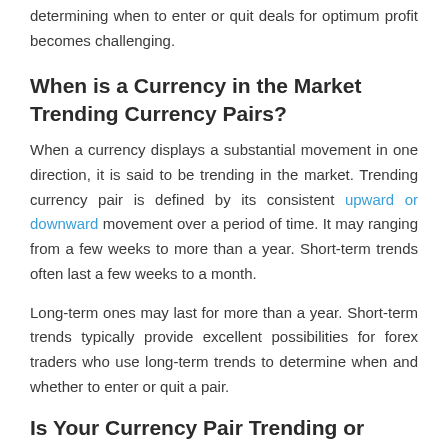determining when to enter or quit deals for optimum profit becomes challenging.
When is a Currency in the Market Trending Currency Pairs?
When a currency displays a substantial movement in one direction, it is said to be trending in the market. Trending currency pair is defined by its consistent upward or downward movement over a period of time. It may ranging from a few weeks to more than a year. Short-term trends often last a few weeks to a month.
Long-term ones may last for more than a year. Short-term trends typically provide excellent possibilities for forex traders who use long-term trends to determine when and whether to enter or quit a pair.
Is Your Currency Pair Trending or